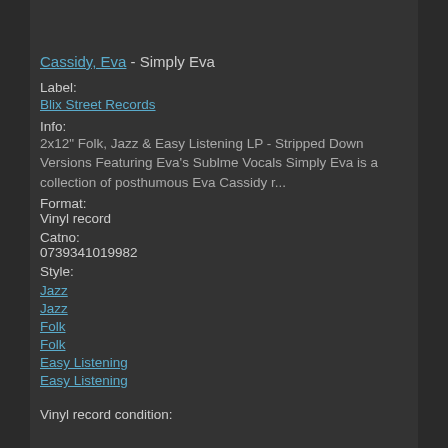Cassidy, Eva - Simply Eva
Label:
Blix Street Records
Info:
2x12" Folk, Jazz & Easy Listening LP - Stripped Down Versions Featuring Eva's Sublme Vocals Simply Eva is a collection of posthumous Eva Cassidy r...
Format:
Vinyl record
Catno:
0739341019982
Style:
Jazz
Jazz
Folk
Folk
Easy Listening
Easy Listening
Vinyl record condition: